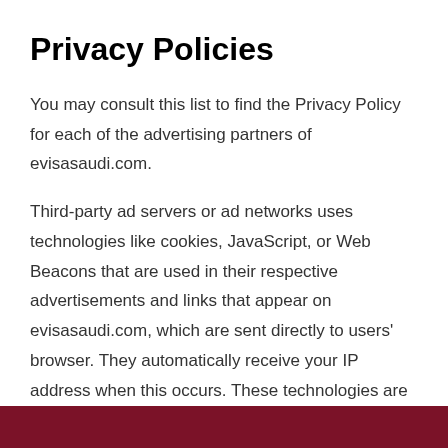Privacy Policies
You may consult this list to find the Privacy Policy for each of the advertising partners of evisasaudi.com.
Third-party ad servers or ad networks uses technologies like cookies, JavaScript, or Web Beacons that are used in their respective advertisements and links that appear on evisasaudi.com, which are sent directly to users’ browser. They automatically receive your IP address when this occurs. These technologies are used to measure the